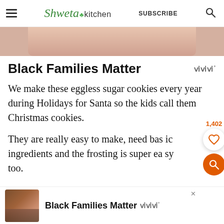≡ Shweta in kitchen   SUBSCRIBE   🔍
[Figure (photo): Partial photo of a person in a pink/peach outfit, cropped at top]
Black Families Matter
We make these eggless sugar cookies every year during Holidays for Santa so the kids call them Christmas cookies.
They are really easy to make, need bas ic ingredients and the frosting is super ea sy too.
[Figure (photo): Ad banner at bottom: photo of people smiling, with text 'Black Families Matter' and WW logo]
Black Families Matter